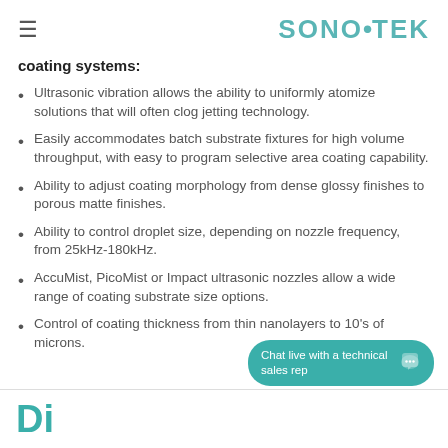SONO·TEK
coating systems:
Ultrasonic vibration allows the ability to uniformly atomize solutions that will often clog jetting technology.
Easily accommodates batch substrate fixtures for high volume throughput, with easy to program selective area coating capability.
Ability to adjust coating morphology from dense glossy finishes to porous matte finishes.
Ability to control droplet size, depending on nozzle frequency, from 25kHz-180kHz.
AccuMist, PicoMist or Impact ultrasonic nozzles allow a wide range of coating substrate size options.
Control of coating thickness from thin nanolayers to 10's of microns.